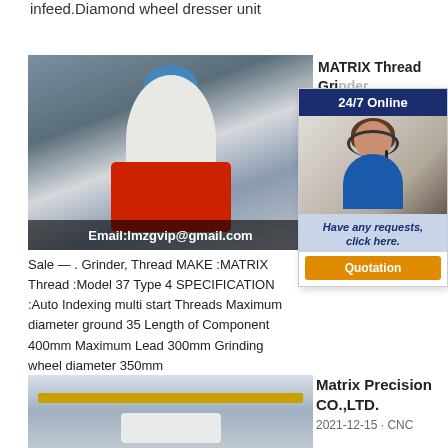infeed.Diamond wheel dresser unit
[Figure (photo): Industrial grinding machine (white conical body with red base) with email overlay: Email:lmzgvip@gmail.com]
MATRIX Thread Grinder Type 4
[Figure (illustration): 24/7 Online chat widget with photo of woman with headset, message 'Have any requests, click here.' and orange Quotation button]
MATRIX Thread Grinder 4 M... :956...
Sale — . Grinder, Thread MAKE :MATRIX Thread :Model 37 Type 4 SPECIFICATION :Auto Indexing multi start Threads Maximum diameter ground 35 Length of Component 400mm Maximum Lead 300mm Grinding wheel diameter 350mm
[Figure (photo): Factory interior with crane beam and large CNC machine on floor]
Matrix Precision CO.,LTD.
2021-12-15 · CNC